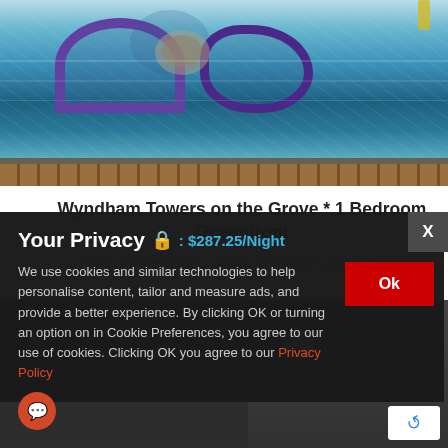[Figure (photo): Swimming pool with blue/purple tile edging and curved shapes, viewed from above]
Wyndham Towers on the Grove * 1 Bedroom Oceanfront
North Myrtle Beach, South Carolina, United States
Sleeps : 4
Your Privacy 🔒 : $287.25/Night
We use cookies and similar technologies to help personalise content, tailor and measure ads, and provide a better experience. By clicking OK or turning an option on in Cookie Preferences, you agree to our use of cookies. Clicking OK you agree to our Privacy Policy
[Figure (screenshot): Building photo and reCAPTCHA badge visible in background behind privacy overlay]